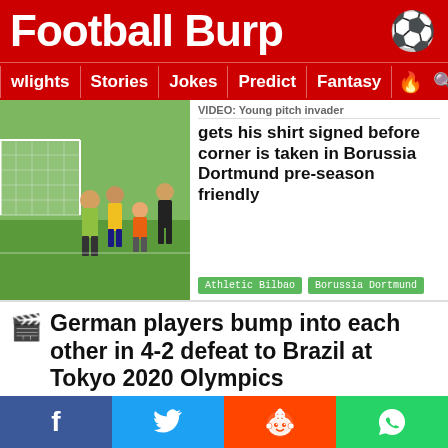Football Burp ⚽
wlights | Stories | Jokes | Predict | Fantasy 🔥 🔍
[Figure (photo): Football players on a pitch near a goal post, with a young child in an orange shirt]
VIDEO: Young pitch invader gets his shirt signed before corner is taken in Borussia Dortmund pre-season friendly
Athletic Bilbao   Borussia Dortmund
German players bump into each other in 4-2 defeat to Brazil at Tokyo 2020 Olympics
nem a várzea da minha cidade os cara faz isso
MKKKKKKKKKKKKKKKKKKKKKKKKKKKKKKK
pic.twitter.com/8yaCNTmsuC
f  🐦  reddit  WhatsApp